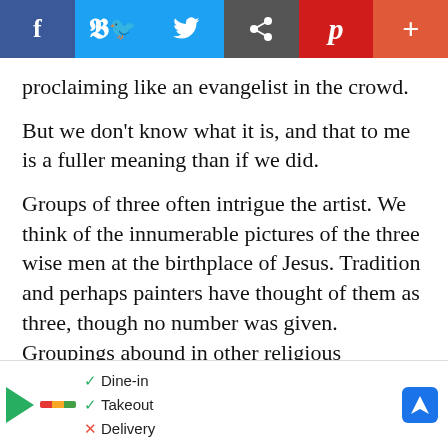[Figure (other): Social sharing bar with Facebook (blue), Twitter (light blue), Share (grey), Pinterest (red), and plus/add (orange-red) buttons]
proclaiming like an evangelist in the crowd.
But we don't know what it is, and that to me is a fuller meaning than if we did.
Groups of three often intrigue the artist. We think of the innumerable pictures of the three wise men at the birthplace of Jesus. Tradition and perhaps painters have thought of them as three, though no number was given. Groupings abound in other religious paintings or family portraits. Here, likewise, there is a photograph of three black women walking through Grenada, Miss., on a Saturday in town, only their expressive backs to the camera; also three young black men seated before a store [front] ... nge of attitudes a[nd] ...
[Figure (other): Ad overlay showing restaurant options: Dine-in, Takeout, Delivery with checkmarks, a colorful logo bar, navigation arrow icon, and close button]